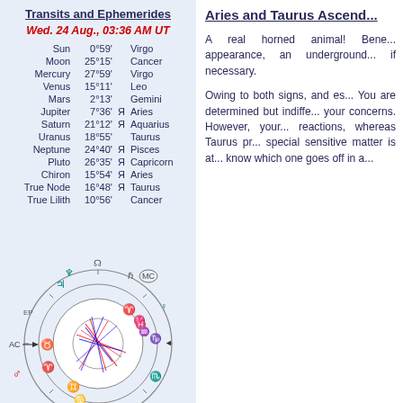Transits and Ephemerides
Wed. 24 Aug., 03:36 AM UT
| Planet | Degree | Ret | Sign |
| --- | --- | --- | --- |
| Sun | 0°59' |  | Virgo |
| Moon | 25°15' |  | Cancer |
| Mercury | 27°59' |  | Virgo |
| Venus | 15°11' |  | Leo |
| Mars | 2°13' |  | Gemini |
| Jupiter | 7°36' | Я | Aries |
| Saturn | 21°12' | Я | Aquarius |
| Uranus | 18°55' |  | Taurus |
| Neptune | 24°40' | Я | Pisces |
| Pluto | 26°35' | Я | Capricorn |
| Chiron | 15°54' | Я | Aries |
| True Node | 16°48' | Я | Taurus |
| True Lilith | 10°56' |  | Cancer |
[Figure (other): Astrological natal/transit chart wheel showing planetary positions with zodiac signs, aspect lines in red and blue, and planet symbols around the wheel. Labels include AC, MC, EP and various planetary glyphs.]
Aries and Taurus Ascendo...
A real horned animal! Bene... appearance, an underground... if necessary.
Owing to both signs, and es... You are determined but indiffe... your concerns. However, your... reactions, whereas Taurus pr... special sensitive matter is at... know which one goes off in a...